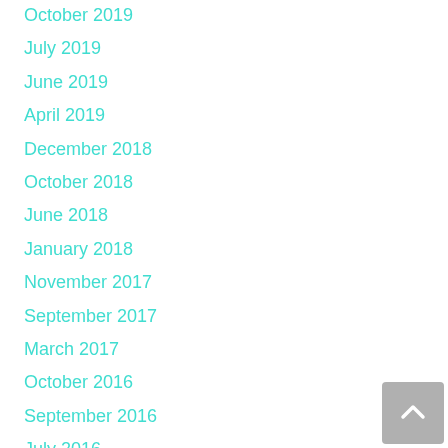October 2019
July 2019
June 2019
April 2019
December 2018
October 2018
June 2018
January 2018
November 2017
September 2017
March 2017
October 2016
September 2016
July 2016
June 2016
February 2016